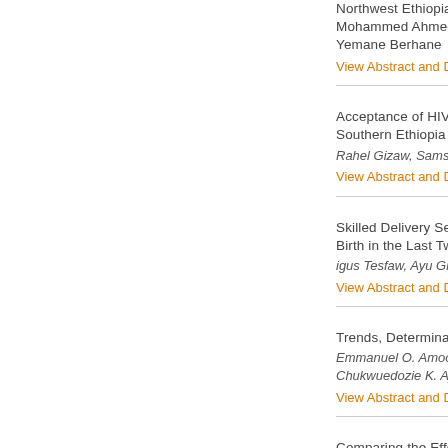Northwest Ethiopia
Mohammed Ahmed, M
Yemane Berhane
View Abstract and Dow
Acceptance of HIV C
Southern Ethiopia
Rahel Gizaw, Samson G
View Abstract and Dow
Skilled Delivery Servic
Birth in the Last Two Ye
igus Tesfaw, Ayu Gizac
View Abstract and Dow
Trends, Determinants a
Emmanuel O. Amoo,
Chukwuedozie K. Ajaer
View Abstract and Dow
Comparing the Effect o
Underwent Caesarean